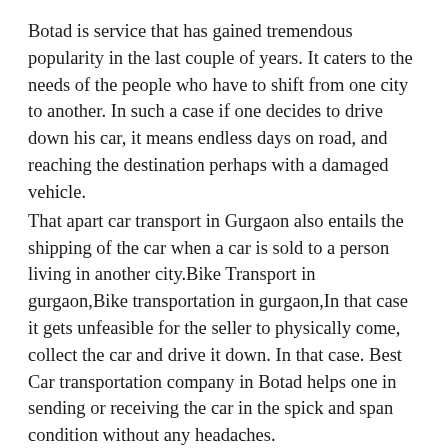Botad is service that has gained tremendous popularity in the last couple of years. It caters to the needs of the people who have to shift from one city to another. In such a case if one decides to drive down his car, it means endless days on road, and reaching the destination perhaps with a damaged vehicle.
That apart car transport in Gurgaon also entails the shipping of the car when a car is sold to a person living in another city.Bike Transport in gurgaon,Bike transportation in gurgaon,In that case it gets unfeasible for the seller to physically come, collect the car and drive it down. In that case. Best Car transportation company in Botad helps one in sending or receiving the car in the spick and span condition without any headaches.
When choosing an auto transportation company, it is better that one goes for enclosed car transport. More often than not, the distances between the two cities are such that it may take days for the car to reach its destination. In case if one chooses an open transport then there are chances that his/her car may somewhat be damaged because of the